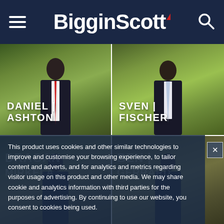BigginScott
[Figure (photo): Agent photo card: DANIEL | ASHTON, man in suit with red tie, green bokeh background]
[Figure (photo): Agent photo card: SVEN | FISCHER, man in suit with light blue tie, green bokeh background]
[Figure (photo): Agent photo card: DRAGAN | MIRKELA (partially obscured by cookie notice)]
[Figure (photo): Agent photo card: BEN | GERRARD (partially obscured by cookie notice)]
This product uses cookies and other similar technologies to improve and customise your browsing experience, to tailor content and adverts, and for analytics and metrics regarding visitor usage on this product and other media. We may share cookie and analytics information with third parties for the purposes of advertising. By continuing to use our website, you consent to cookies being used.